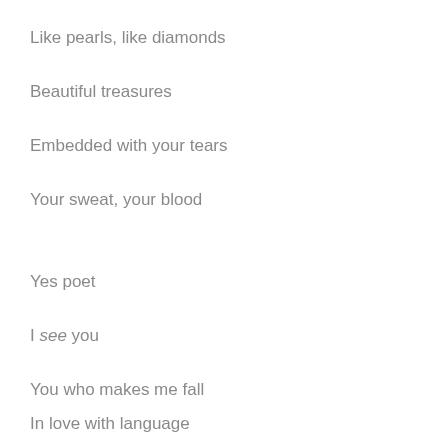Like pearls, like diamonds
Beautiful treasures
Embedded with your tears
Your sweat, your blood
Yes poet
I see you
You who makes me fall
In love with language